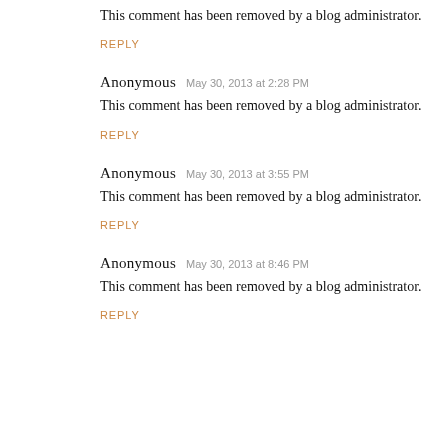This comment has been removed by a blog administrator.
REPLY
Anonymous  May 30, 2013 at 2:28 PM
This comment has been removed by a blog administrator.
REPLY
Anonymous  May 30, 2013 at 3:55 PM
This comment has been removed by a blog administrator.
REPLY
Anonymous  May 30, 2013 at 8:46 PM
This comment has been removed by a blog administrator.
REPLY